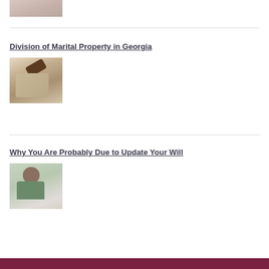[Figure (photo): Partial image of a person at the top of the page]
Division of Marital Property in Georgia
[Figure (photo): Image of a judge's gavel next to a small house model]
Why You Are Probably Due to Update Your Will
[Figure (photo): Elderly man with glasses reading a document]